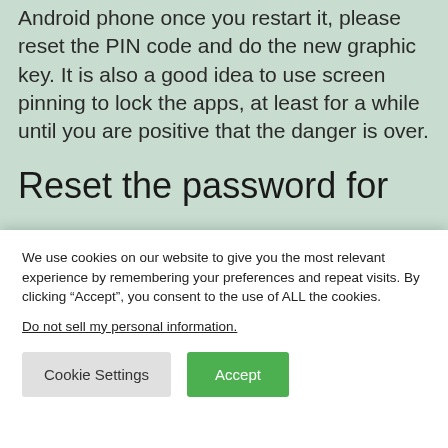Android phone once you restart it, please reset the PIN code and do the new graphic key. It is also a good idea to use screen pinning to lock the apps, at least for a while until you are positive that the danger is over.
Reset the password for
We use cookies on our website to give you the most relevant experience by remembering your preferences and repeat visits. By clicking “Accept”, you consent to the use of ALL the cookies.
Do not sell my personal information.